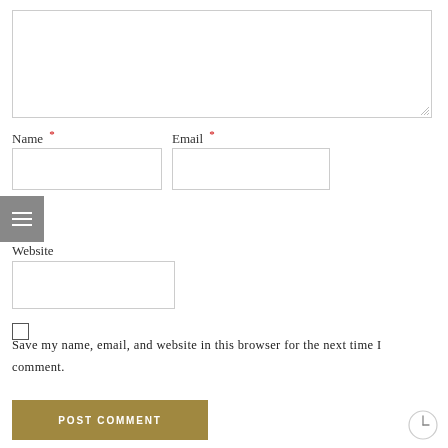[Figure (screenshot): Large textarea input box for comment text]
Name *
Email *
[Figure (screenshot): Name input field]
[Figure (screenshot): Email input field]
[Figure (screenshot): Menu/hamburger button overlay]
Website
[Figure (screenshot): Website input field]
Save my name, email, and website in this browser for the next time I comment.
POST COMMENT
[Figure (illustration): Clock/history icon in bottom right corner]